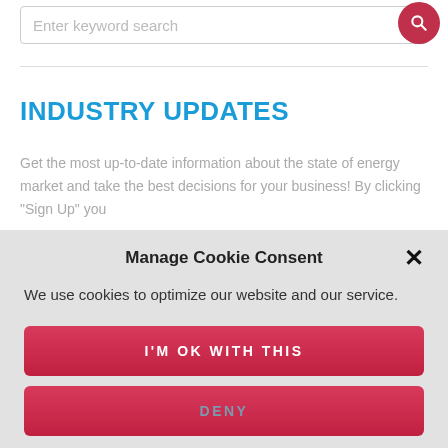[Figure (screenshot): Search bar with placeholder text 'Enter keyword search' and a red circular search button on the right]
INDUSTRY UPDATES
Get the most up-to-date information about the state of energy market and take the best decisions for your business! By clicking "Sign Up" you
Manage Cookie Consent
We use cookies to optimize our website and our service.
I'M OK WITH THIS
DENY